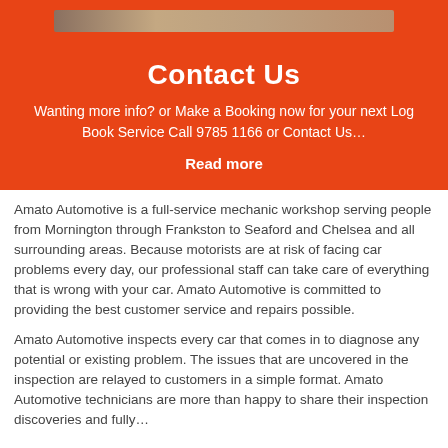[Figure (photo): A photo strip showing people, partially visible at the top of the orange banner]
Contact Us
Wanting more info? or Make a Booking now for your next Log Book Service Call 9785 1166 or Contact Us…
Read more
Amato Automotive is a full-service mechanic workshop serving people from Mornington through Frankston to Seaford and Chelsea and all surrounding areas. Because motorists are at risk of facing car problems every day, our professional staff can take care of everything that is wrong with your car. Amato Automotive is committed to providing the best customer service and repairs possible.
Amato Automotive inspects every car that comes in to diagnose any potential or existing problem. The issues that are uncovered in the inspection are relayed to customers in a simple format. Amato Automotive technicians are more than happy to share their inspection discoveries and fully…